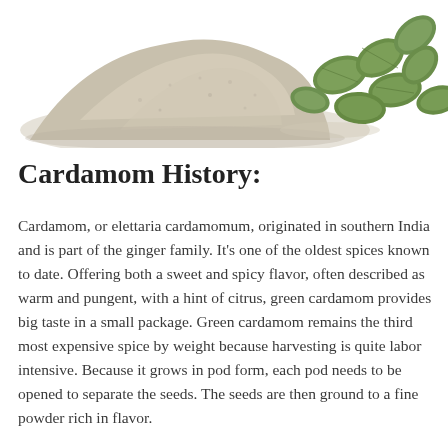[Figure (photo): Pile of ground cardamom powder on the left side and green cardamom pods on the right side, photographed on a white background.]
Cardamom History:
Cardamom, or elettaria cardamomum, originated in southern India and is part of the ginger family. It's one of the oldest spices known to date. Offering both a sweet and spicy flavor, often described as warm and pungent, with a hint of citrus, green cardamom provides big taste in a small package. Green cardamom remains the third most expensive spice by weight because harvesting is quite labor intensive. Because it grows in pod form, each pod needs to be opened to separate the seeds. The seeds are then ground to a fine powder rich in flavor.